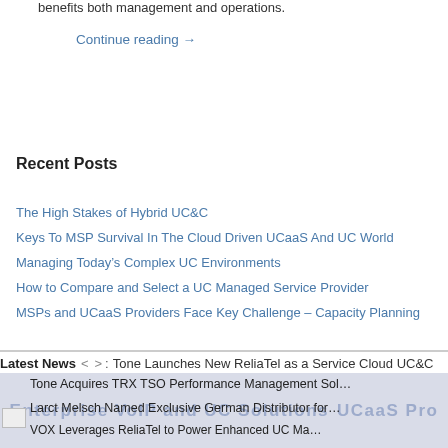benefits both management and operations.
Continue reading →
Recent Posts
The High Stakes of Hybrid UC&C
Keys To MSP Survival In The Cloud Driven UCaaS And UC World
Managing Today's Complex UC Environments
How to Compare and Select a UC Managed Service Provider
MSPs and UCaaS Providers Face Key Challenge – Capacity Planning
Latest News  <    > :  Tone Launches New ReliaTel as a Service Cloud UC&C  Tone Acquires TRX TSO Performance Management So...  Larct Melsch Named Exclusive German Distributor for...  VOX Leverages ReliaTel to Power Enhanced UC Ma...